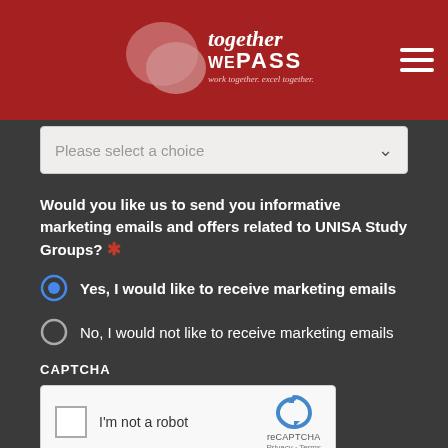[Figure (logo): Together We Pass logo with speech bubble icon on red header background]
Please select a choice
Would you like us to send you informative marketing emails and offers related to UNISA Study Groups? *
Yes, I would like to receive marketing emails
No, I would not like to receive marketing emails
CAPTCHA
[Figure (other): reCAPTCHA widget with checkbox 'I'm not a robot' and Google reCAPTCHA logo with Privacy - Terms links]
SUBMIT